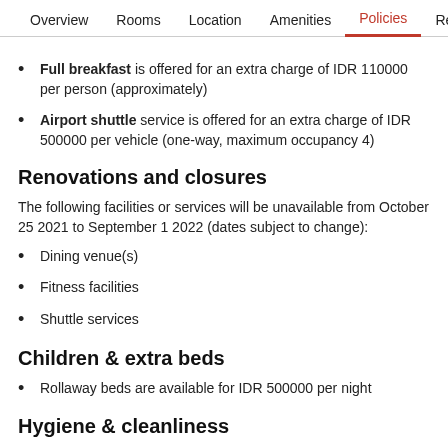Overview  Rooms  Location  Amenities  Policies  Reviews
Full breakfast is offered for an extra charge of IDR 110000 per person (approximately)
Airport shuttle service is offered for an extra charge of IDR 500000 per vehicle (one-way, maximum occupancy 4)
Renovations and closures
The following facilities or services will be unavailable from October 25 2021 to September 1 2022 (dates subject to change):
Dining venue(s)
Fitness facilities
Shuttle services
Children & extra beds
Rollaway beds are available for IDR 500000 per night
Hygiene & cleanliness